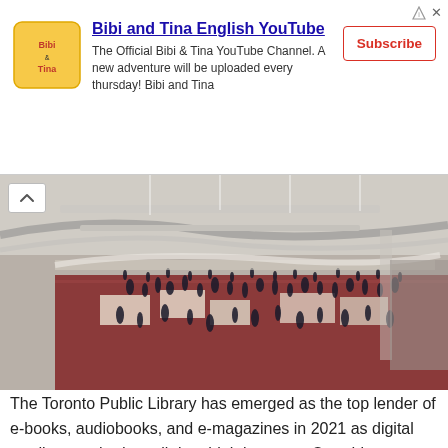[Figure (infographic): Advertisement banner for Bibi and Tina English YouTube channel with logo, description text, and Subscribe button]
[Figure (photo): Interior aerial view of a large modern building (Toronto Public Library or similar) with crowds of people on a red floor, multiple levels visible]
The Toronto Public Library has emerged as the top lender of e-books, audiobooks, and e-magazines in 2021 as digital reading reached an all-time high last year. Overdrive revealed more than half a billion digital content was circulated through them in 2021. Specifically, it is 506 million e-books, audiobooks, and digital magazines that went into circulation in the past year, … [Read more...]